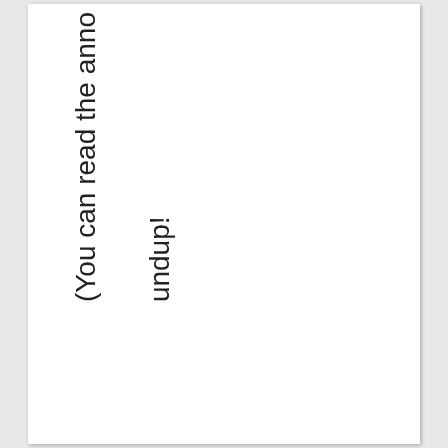undup!

(You can read the anno